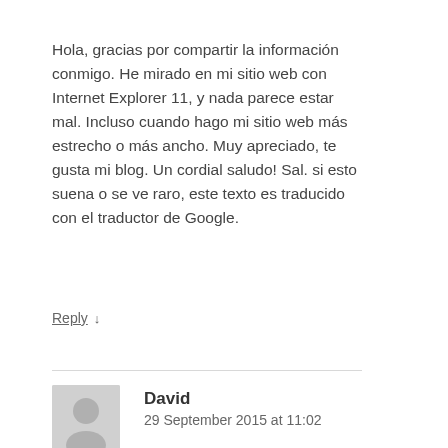Hola, gracias por compartir la información conmigo. He mirado en mi sitio web con Internet Explorer 11, y nada parece estar mal. Incluso cuando hago mi sitio web más estrecho o más ancho. Muy apreciado, te gusta mi blog. Un cordial saludo! Sal. si esto suena o se ve raro, este texto es traducido con el traductor de Google.
Reply ↓
David
29 September 2015 at 11:02